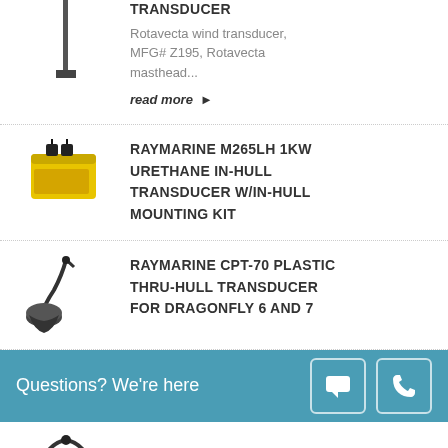[Figure (photo): Partial product image of a transducer at top left]
TRANSDUCER
Rotavecta wind transducer, MFG# Z195, Rotavecta masthead...
read more ▶
[Figure (photo): Yellow rectangular Raymarine M265LH in-hull transducer product image]
RAYMARINE M265LH 1KW URETHANE IN-HULL TRANSDUCER W/IN-HULL MOUNTING KIT
[Figure (photo): Raymarine CPT-70 plastic thru-hull transducer product image]
RAYMARINE CPT-70 PLASTIC THRU-HULL TRANSDUCER FOR DRAGONFLY 6 AND 7
Questions? We're here
[Figure (photo): Partial product image of a transducer at bottom]
TRANSDUCER